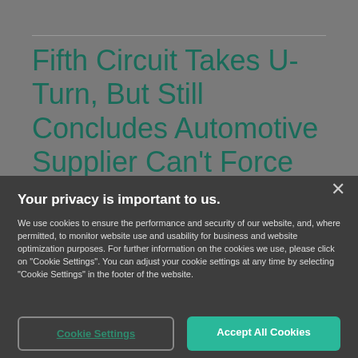Fifth Circuit Takes U-Turn, But Still Concludes Automotive Supplier Can't Force SEP Holder
Your privacy is important to us.
We use cookies to ensure the performance and security of our website, and, where permitted, to monitor website use and usability for business and website optimization purposes. For further information on the cookies we use, please click on "Cookie Settings". You can adjust your cookie settings at any time by selecting "Cookie Settings" in the footer of the website.